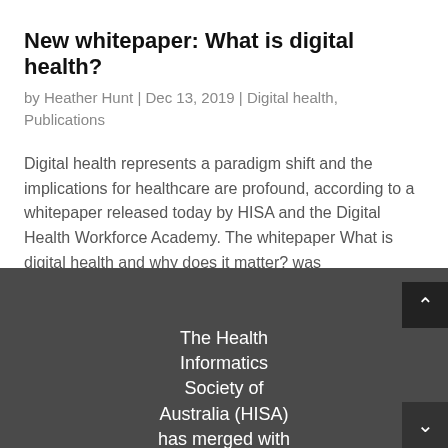New whitepaper: What is digital health?
by Heather Hunt | Dec 13, 2019 | Digital health, Publications
Digital health represents a paradigm shift and the implications for healthcare are profound, according to a whitepaper released today by HISA and the Digital Health Workforce Academy. The whitepaper What is digital health and why does it matter? was
The Health Informatics Society of Australia (HISA) has merged with